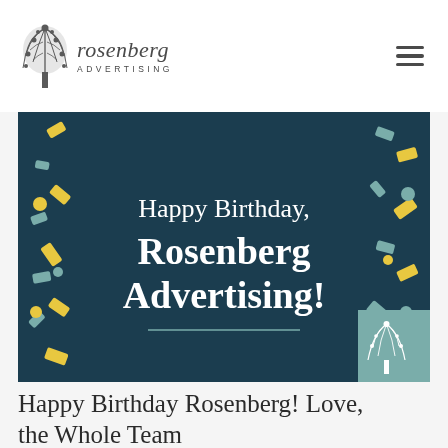[Figure (logo): Rosenberg Advertising logo with tree illustration and text]
[Figure (photo): Dark teal banner with confetti showing 'Happy Birthday, Rosenberg Advertising!' text with a horizontal rule]
Happy Birthday Rosenberg! Love, the Whole Team